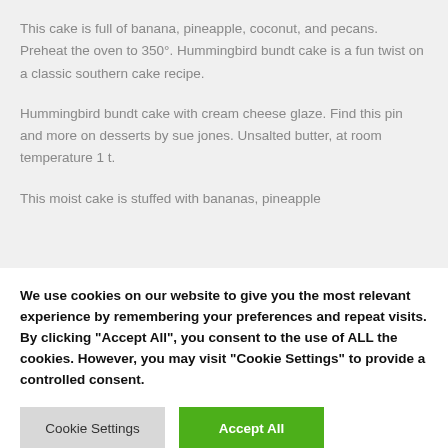This cake is full of banana, pineapple, coconut, and pecans. Preheat the oven to 350°. Hummingbird bundt cake is a fun twist on a classic southern cake recipe.
Hummingbird bundt cake with cream cheese glaze. Find this pin and more on desserts by sue jones. Unsalted butter, at room temperature 1 t.
This moist cake is stuffed with bananas, pineapple
We use cookies on our website to give you the most relevant experience by remembering your preferences and repeat visits. By clicking "Accept All", you consent to the use of ALL the cookies. However, you may visit "Cookie Settings" to provide a controlled consent.